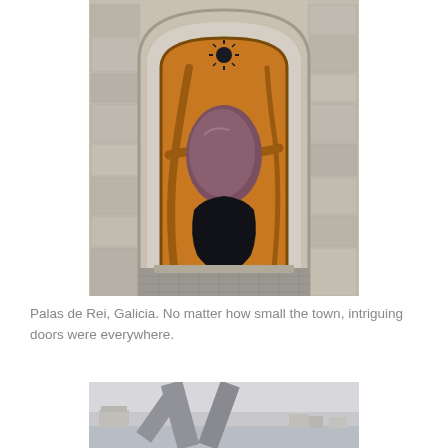[Figure (photo): An ornate wooden door set within a stone archway. The door is carved from natural wood with organic, flowing shapes. It features a central oval stone or glass inset in reddish-brown, a black irregular opening at the bottom, and a small decorative sunburst motif at the top. The surrounding wall is rough-cut stone.]
Palas de Rei, Galicia. No matter how small the town, intriguing doors were everywhere.
[Figure (photo): A large abstract sculpture made of crossed gray concrete or stone beams, resembling a stylized cross or anchor shape. In the background are low buildings and a pale overcast sky near what appears to be a coastal area.]